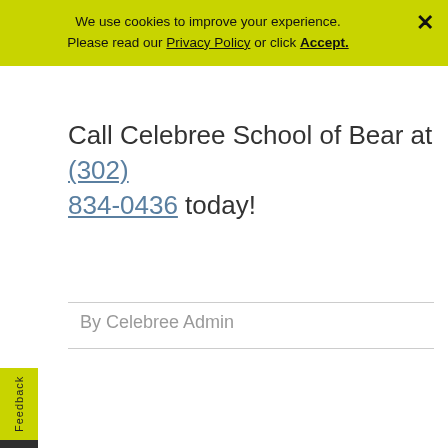We use cookies to improve your experience. Please read our Privacy Policy or click Accept.
Call Celebree School of Bear at (302) 834-0436 today!
By Celebree Admin
Search ...